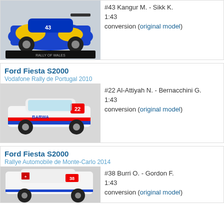[Figure (photo): Scale model photo of a blue and yellow Ford Fiesta rally car #43]
#43 Kangur M. - Sikk K.
1:43
conversion (original model)
Ford Fiesta S2000
Vodafone Rally de Portugal 2010
[Figure (photo): Scale model photo of a white Ford Fiesta S2000 rally car #22 with BARWA sponsorship]
#22 Al-Attiyah N. - Bernacchini G.
1:43
conversion (original model)
Ford Fiesta S2000
Rallye Automobile de Monte-Carlo 2014
[Figure (photo): Scale model photo of a white Ford Fiesta S2000 rally car #38]
#38 Burri O. - Gordon F.
1:43
conversion (original model)